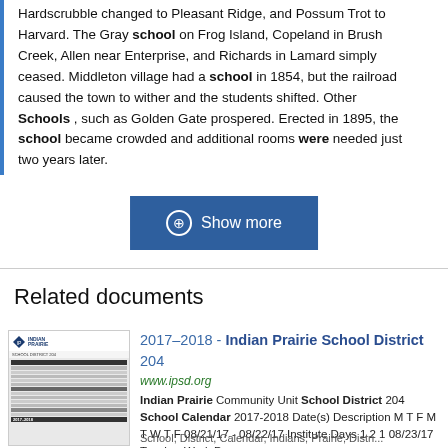Hardscrubble changed to Pleasant Ridge, and Possum Trot to Harvard. The Gray school on Frog Island, Copeland in Brush Creek, Allen near Enterprise, and Richards in Lamard simply ceased. Middleton village had a school in 1854, but the railroad caused the town to wither and the students shifted. Other Schools , such as Golden Gate prospered. Erected in 1895, the school became crowded and additional rooms were needed just two years later.
[Figure (other): Blue button labeled 'Show more' with a circled plus/info icon]
Related documents
[Figure (screenshot): Thumbnail preview of Indian Prairie School District 2017-2018 calendar document]
2017-2018 - Indian Prairie School District 204
www.ipsd.org
Indian Prairie Community Unit School District 204 School Calendar 2017-2018 Date(s) Description M T F M T W T F 08/21/17 - 08/22/17 Institute Days 1 2 1 08/23/17 Teacher Work Day
School, District, Calendar, Indians, Prairie, Distri...